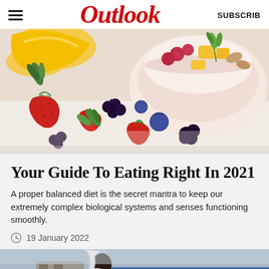Outlook
[Figure (photo): Close-up photo of mixed fresh fruits including strawberries, blackberries, blueberries, mango slices, and raspberries, with a bowl of fruit salad in the background.]
Your Guide To Eating Right In 2021
A proper balanced diet is the secret mantra to keep our extremely complex biological systems and senses functioning smoothly.
19 January 2022
[Figure (photo): Partial view of a person at what appears to be an outdoor market or street scene.]